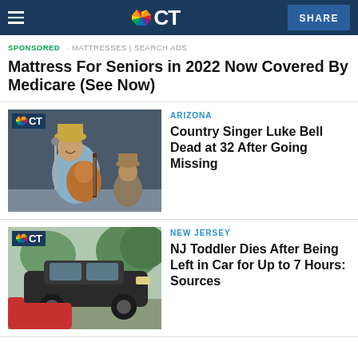NBC CT — SHARE
SPONSORED · MATTRESSES | SEARCH ADS
Mattress For Seniors in 2022 Now Covered By Medicare (See Now)
[Figure (photo): Man playing guitar on stage, smiling, wearing a hat]
ARIZONA
Country Singer Luke Bell Dead at 32 After Going Missing
[Figure (photo): Dark car parked outside near trees]
NEW JERSEY
NJ Toddler Dies After Being Left in Car for Up to 7 Hours: Sources